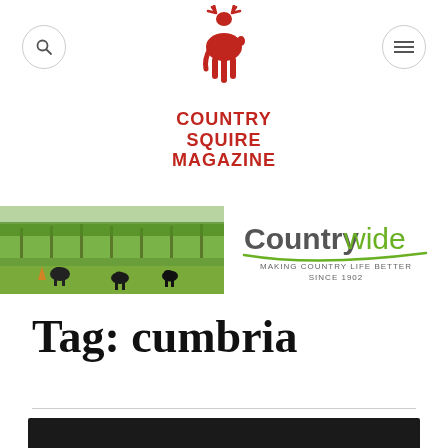[Figure (logo): Country Squire Magazine logo with red deer illustration and red bold text reading COUNTRY SQUIRE MAGAZINE]
[Figure (photo): Countrywide advertisement banner: left half shows cows grazing in a green field with trees; right half shows Countrywide logo with tagline MAKING COUNTRY LIFE BETTER SINCE 1902]
Tag: cumbria
[Figure (other): Dark black bar at the bottom of the page]